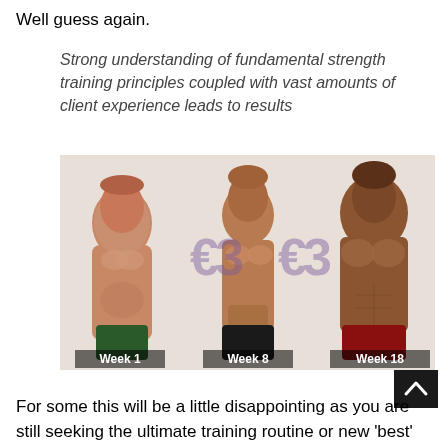Well guess again.
Strong understanding of fundamental strength training principles coupled with vast amounts of client experience leads to results
[Figure (photo): Three side-by-side photos of the same man showing body transformation progression labeled Week 1, Week 8, and Week 18, with a watermark logo overlay.]
For some this will be a little disappointing as you are still seeking the ultimate training routine or new 'best'